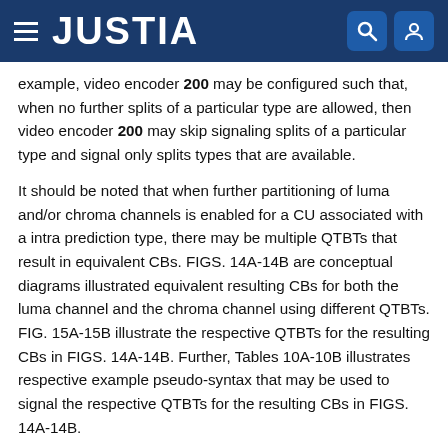JUSTIA
example, video encoder 200 may be configured such that, when no further splits of a particular type are allowed, then video encoder 200 may skip signaling splits of a particular type and signal only splits types that are available.
It should be noted that when further partitioning of luma and/or chroma channels is enabled for a CU associated with a intra prediction type, there may be multiple QTBTs that result in equivalent CBs. FIGS. 14A-14B are conceptual diagrams illustrated equivalent resulting CBs for both the luma channel and the chroma channel using different QTBTs. FIG. 15A-15B illustrate the respective QTBTs for the resulting CBs in FIGS. 14A-14B. Further, Tables 10A-10B illustrates respective example pseudo-syntax that may be used to signal the respective QTBTs for the resulting CBs in FIGS. 14A-14B.